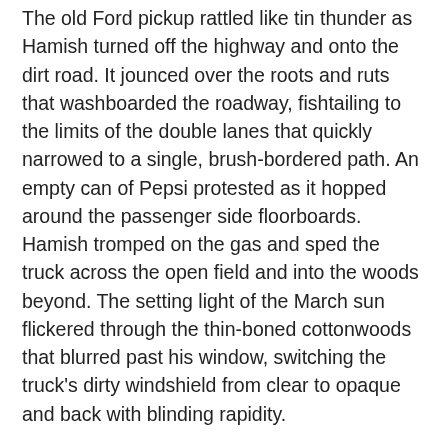The old Ford pickup rattled like tin thunder as Hamish turned off the highway and onto the dirt road. It jounced over the roots and ruts that washboarded the roadway, fishtailing to the limits of the double lanes that quickly narrowed to a single, brush-bordered path. An empty can of Pepsi protested as it hopped around the passenger side floorboards. Hamish tromped on the gas and sped the truck across the open field and into the woods beyond. The setting light of the March sun flickered through the thin-boned cottonwoods that blurred past his window, switching the truck's dirty windshield from clear to opaque and back with blinding rapidity.
Hamish frowned at the glare, but didn't slow down. With eyes squinted and one hand casually draped over the steering wheel, he pushed the gas pedal to the floorboard. The Ford hesitated, as if unsure that he was serious, then